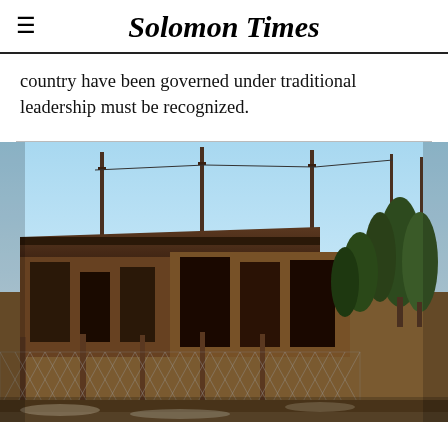Solomon Times
country have been governed under traditional leadership must be recognized.
[Figure (photo): Photograph of a burnt or damaged building with a blue sky, metal fence, concrete walls with dark scorch marks, trees, and utility poles visible in the background.]